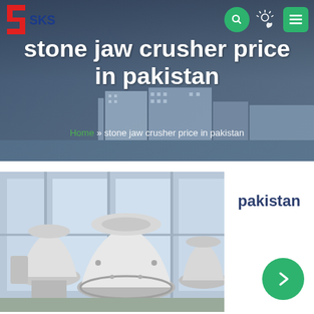[Figure (screenshot): SKS company website header banner with building in background, navigation bar with logo, search icon, sun/moon icon, and menu icon]
stone jaw crusher price in pakistan
Home » stone jaw crusher price in pakistan
[Figure (photo): Industrial crushing/milling machinery — large white cylindrical cone mill/crusher equipment in a factory setting with windows]
pakistan